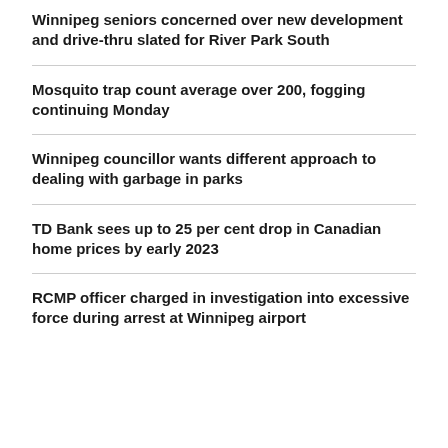Winnipeg seniors concerned over new development and drive-thru slated for River Park South
Mosquito trap count average over 200, fogging continuing Monday
Winnipeg councillor wants different approach to dealing with garbage in parks
TD Bank sees up to 25 per cent drop in Canadian home prices by early 2023
RCMP officer charged in investigation into excessive force during arrest at Winnipeg airport